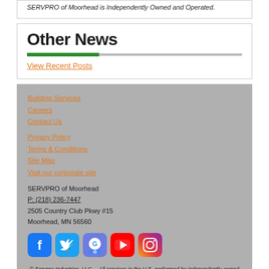SERVPRO of Moorhead is Independently Owned and Operated.
Other News
View Recent Posts
Building Services
Careers
Contact Us
Privacy Policy
Terms & Conditions
Site Map
Visit our corporate site
SERVPRO of Moorhead
P: (218) 236-7447
2505 Country Club Pkwy #15
Moorhead, MN 56560
[Figure (logo): Social media icons: Facebook, Twitter, Google, YouTube, Instagram]
© Servpro Industries, LLC. – All services in the U.S. performed by independently owned and operated franchises of Servpro Industries, LLC.